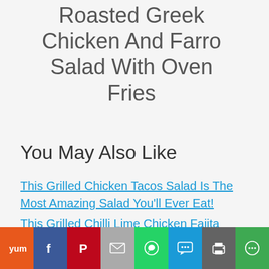Roasted Greek Chicken And Farro Salad With Oven Fries
You May Also Like
This Grilled Chicken Tacos Salad Is The Most Amazing Salad You'll Ever Eat!
This Grilled Chilli Lime Chicken Fajita Salad Is Crazy Amazing!
Incredibly Delicious Chicken Salad
Yum | Facebook | Pinterest | Mail | WhatsApp | SMS | Print | More